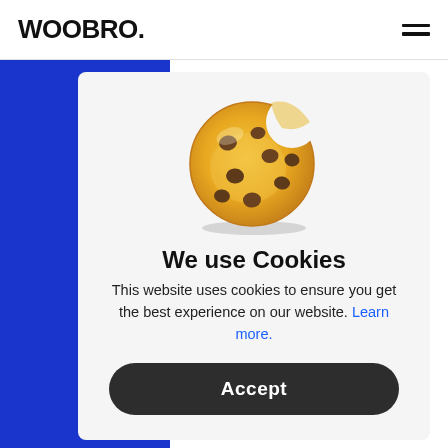WOOBRO.
[Figure (illustration): Cookie emoji illustration — a round chocolate chip cookie with a bite taken out of the top-right corner, golden-brown color with dark brown chocolate chips scattered across it.]
We use Cookies
This website uses cookies to ensure you get the best experience on our website. Learn more.
Accept